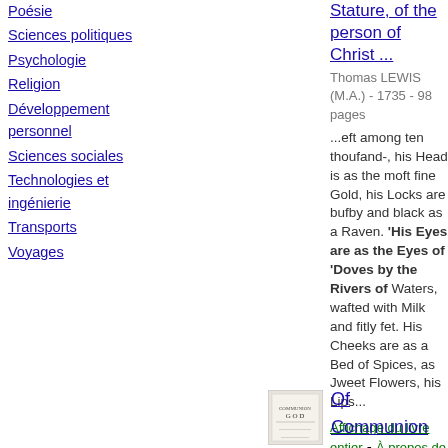Poésie
Sciences politiques
Psychologie
Religion
Développement personnel
Sciences sociales
Technologies et ingénierie
Transports
Voyages
Stature, of the person of Christ ...
Thomas LEWIS (M.A.) - 1735 - 98 pages
...eft among ten thoufand-, his Head is as the moft fine Gold, his Locks are bufby and black as a Raven. 'His Eyes are as the Eyes of 'Doves by the Rivers of Waters, wafted with Milk and fitly fet. His Cheeks are as a Bed of Spices, as Jweet Flowers, his Lips...
Affichage du livre entier - À propos de ce livre
[Figure (illustration): Small thumbnail image of book cover for Of Communion]
Of Communion